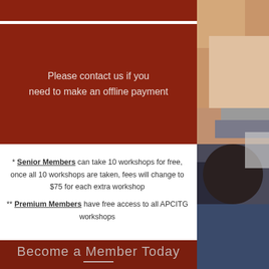Please contact us if you need to make an offline payment
* Senior Members can take 10 workshops for free, once all 10 workshops are taken, fees will change to $75 for each extra workshop
** Premium Members have free access to all APCITG workshops
Become a Member Today
[Figure (photo): People at a table, partial view from right side, showing person in tan sweater and person with curly dark hair]